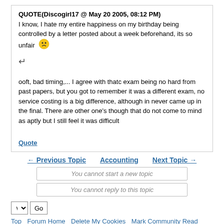QUOTE(Discogirl17 @ May 20 2005, 08:12 PM)
I know, I hate my entire happiness on my birthday being controlled by a letter posted about a week beforehand, its so unfair 😠
ooft, bad timing,... I agree with thatc exam being no hard from past papers, but you got to remember it was a different exam, no service costing is a big difference, although in never came up in the final. There are other one's though that do not come to mind as aptly but I still feel it was difficult
Quote
← Previous Topic   Accounting   Next Topic →
You cannot start a new topic
You cannot reply to this topic
Top   Forum Home   Delete My Cookies   Mark Community Read
Community Forum Software by IP.Board